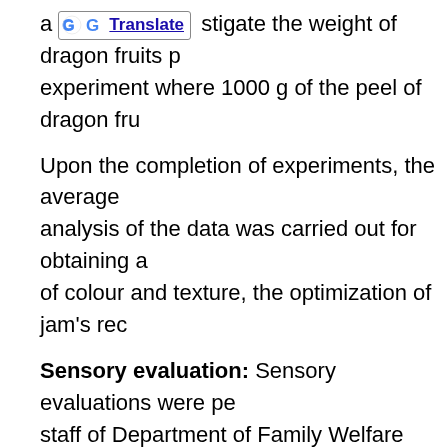a [G Translate] stigate the weight of dragon fruits p experiment where 1000 g of the peel of dragon fru
Upon the completion of experiments, the average analysis of the data was carried out for obtaining a of colour and texture, the optimization of jam's rec
Sensory evaluation: Sensory evaluations were pe staff of Department of Family Welfare Science, Pa colour and texture. Overall acceptability of the jam moderately, 6 = Like slightly, 5 = Neither like nor d
RESULTS AND DISCUSSION
The central composite design: The present inves certain processing time. Response surface method